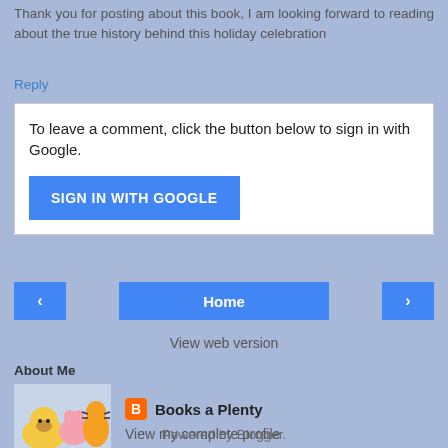Thank you for posting about this book, I am looking forward to reading about the true history behind this holiday celebration
Reply
To leave a comment, click the button below to sign in with Google.
SIGN IN WITH GOOGLE
Home
View web version
About Me
Books a Plenty
View my complete profile
Powered by Blogger.